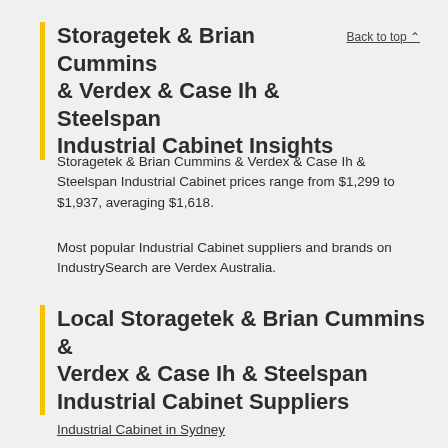Storagetek & Brian Cummins & Verdex & Case Ih & Steelspan Industrial Cabinet Insights
Back to top ↑
Storagetek & Brian Cummins & Verdex & Case Ih & Steelspan Industrial Cabinet prices range from $1,299 to $1,937, averaging $1,618.
Most popular Industrial Cabinet suppliers and brands on IndustrySearch are Verdex Australia.
Local Storagetek & Brian Cummins & Verdex & Case Ih & Steelspan Industrial Cabinet Suppliers
Industrial Cabinet in Sydney